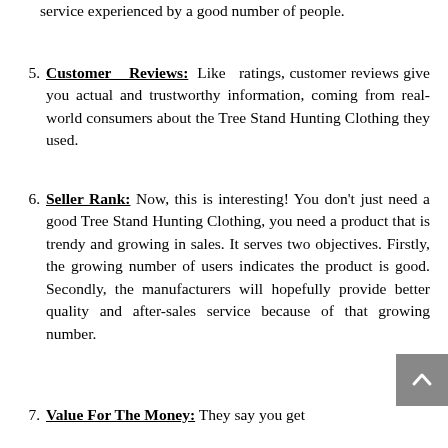service experienced by a good number of people.
5. Customer Reviews: Like ratings, customer reviews give you actual and trustworthy information, coming from real-world consumers about the Tree Stand Hunting Clothing they used.
6. Seller Rank: Now, this is interesting! You don't just need a good Tree Stand Hunting Clothing, you need a product that is trendy and growing in sales. It serves two objectives. Firstly, the growing number of users indicates the product is good. Secondly, the manufacturers will hopefully provide better quality and after-sales service because of that growing number.
7. Value For The Money: They say you get what you pay for. Cheap isn't always...